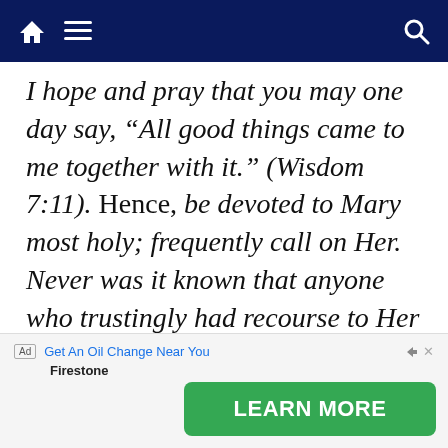Navigation bar with home, menu, and search icons
I hope and pray that you may one day say, “All good things came to me together with it.” (Wisdom 7:11). Hence, be devoted to Mary most holy; frequently call on Her. Never was it known that anyone who trustingly had recourse to Her was not promptly heard. Remember: Our Lady is waiting for you
[Figure (screenshot): Advertisement banner: 'Get An Oil Change Near You' from Firestone with a green LEARN MORE button]